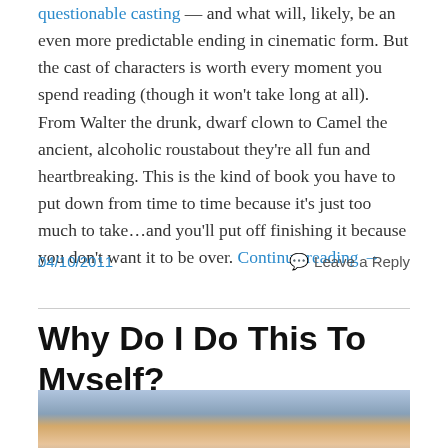questionable casting — and what will, likely, be an even more predictable ending in cinematic form. But the cast of characters is worth every moment you spend reading (though it won't take long at all). From Walter the drunk, dwarf clown to Camel the ancient, alcoholic roustabout they're all fun and heartbreaking. This is the kind of book you have to put down from time to time because it's just too much to take…and you'll put off finishing it because you don't want it to be over. Continue reading →
04/10/2011
Leave a Reply
Why Do I Do This To Myself?
[Figure (photo): Photo of a woman with blonde hair, partially visible, appears to be outdoors with greenery in background]